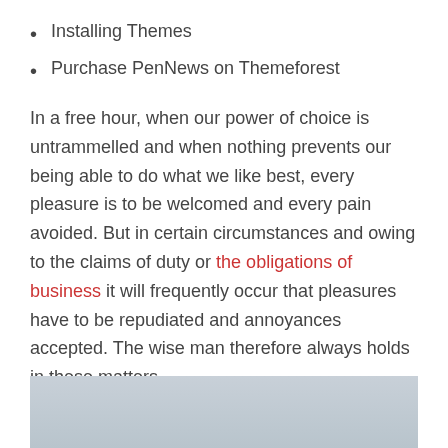Installing Themes
Purchase PenNews on Themeforest
In a free hour, when our power of choice is untrammelled and when nothing prevents our being able to do what we like best, every pleasure is to be welcomed and every pain avoided. But in certain circumstances and owing to the claims of duty or the obligations of business it will frequently occur that pleasures have to be repudiated and annoyances accepted. The wise man therefore always holds in these matters.
[penci_blockquote align="none" author="Norman Vincent"]CHANGE YOUR THOUGHTS, YOU CHANGE YOUR WORLD[/penci_blockquote]
[Figure (photo): Gray placeholder image at bottom of page]